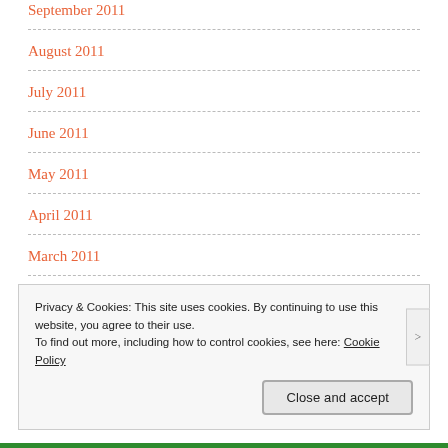September 2011
August 2011
July 2011
June 2011
May 2011
April 2011
March 2011
February 2011
Privacy & Cookies: This site uses cookies. By continuing to use this website, you agree to their use.
To find out more, including how to control cookies, see here: Cookie Policy
Close and accept